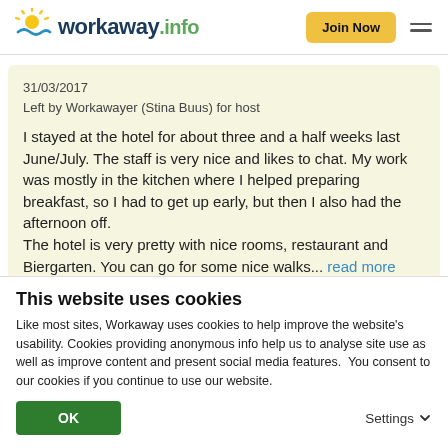workaway.info — Join Now
31/03/2017
Left by Workawayer (Stina Buus) for host
I stayed at the hotel for about three and a half weeks last June/July. The staff is very nice and likes to chat. My work was mostly in the kitchen where I helped preparing breakfast, so I had to get up early, but then I also had the afternoon off.
The hotel is very pretty with nice rooms, restaurant and Biergarten. You can go for some nice walks... read more
This website uses cookies
Like most sites, Workaway uses cookies to help improve the website's usability. Cookies providing anonymous info help us to analyse site use as well as improve content and present social media features.  You consent to our cookies if you continue to use our website.
OK
Settings